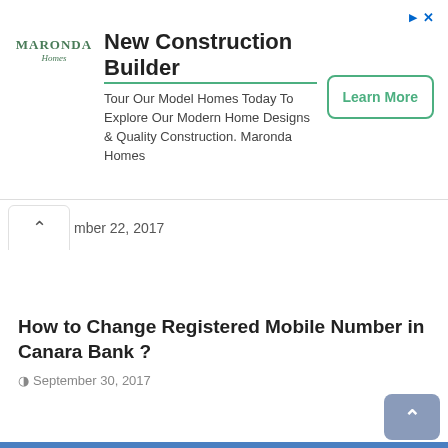[Figure (other): Advertisement banner for Maronda Homes with logo, title 'New Construction Builder', body text, and 'Learn More' button]
mber 22, 2017
How to Change Registered Mobile Number in Canara Bank ?
September 30, 2017